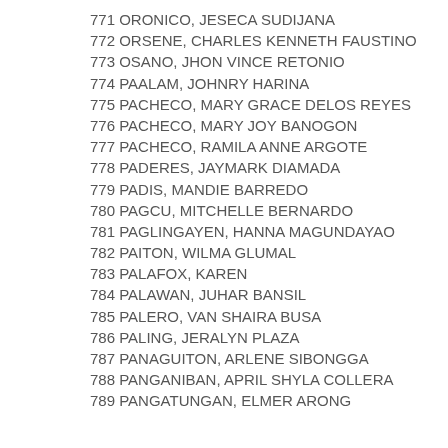771 ORONICO, JESECA SUDIJANA
772 ORSENE, CHARLES KENNETH FAUSTINO
773 OSANO, JHON VINCE RETONIO
774 PAALAM, JOHNRY HARINA
775 PACHECO, MARY GRACE DELOS REYES
776 PACHECO, MARY JOY BANOGON
777 PACHECO, RAMILA ANNE ARGOTE
778 PADERES, JAYMARK DIAMADA
779 PADIS, MANDIE BARREDO
780 PAGCU, MITCHELLE BERNARDO
781 PAGLINGAYEN, HANNA MAGUNDAYAO
782 PAITON, WILMA GLUMAL
783 PALAFOX, KAREN
784 PALAWAN, JUHAR BANSIL
785 PALERO, VAN SHAIRA BUSA
786 PALING, JERALYN PLAZA
787 PANAGUITON, ARLENE SIBONGGA
788 PANGANIBAN, APRIL SHYLA COLLERA
789 PANGATUNGAN, ELMER ARONG